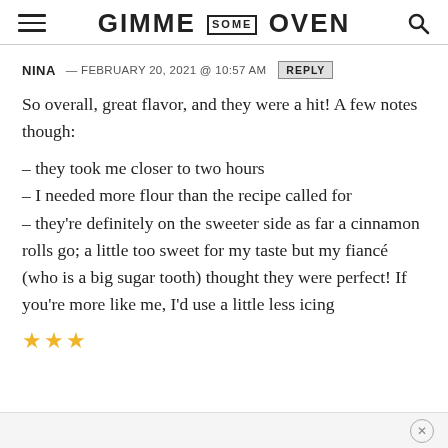GIMME SOME OVEN
NINA — FEBRUARY 20, 2021 @ 10:57 AM  REPLY
So overall, great flavor, and they were a hit! A few notes though:
– they took me closer to two hours
– I needed more flour than the recipe called for
– they're definitely on the sweeter side as far a cinnamon rolls go; a little too sweet for my taste but my fiancé (who is a big sugar tooth) thought they were perfect! If you're more like me, I'd use a little less icing
★★★